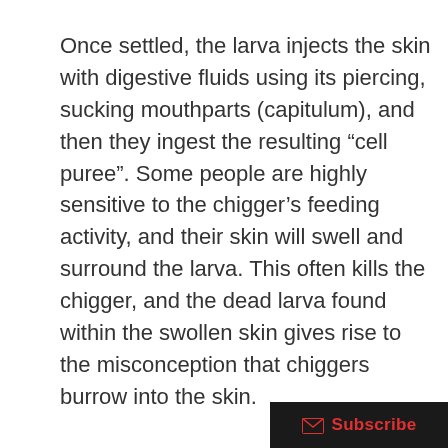Once settled, the larva injects the skin with digestive fluids using its piercing, sucking mouthparts (capitulum), and then they ingest the resulting “cell puree”. Some people are highly sensitive to the chigger’s feeding activity, and their skin will swell and surround the larva. This often kills the chigger, and the dead larva found within the swollen skin gives rise to the misconception that chiggers burrow into the skin.
Chiggers are usually associated with spring and early summer; however, they can undergo three generations per year in warm climates. To avoid being the victim of chiggers, avoid walking through brushy areas or wear lon…